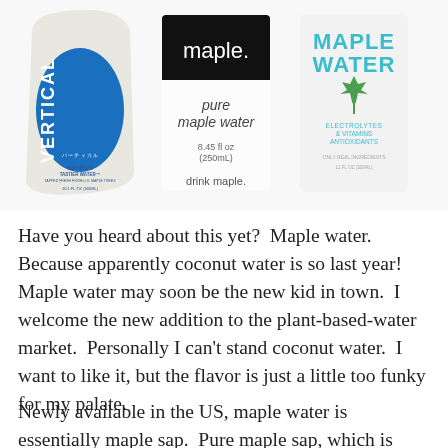[Figure (photo): Three maple water product containers side by side: (1) Vertical Water pouch with blue oval logo and text 'NATURE'S TASTIER WATER™ TAPPED FRESH FROM U.S. MAPLE TREES 10.1 FL OZ (300ML)'; (2) maple. brand white carton with black top reading 'maple.' in white, 'pure maple water', '8.45 fl oz (250mL)', and 'drink maple.' at bottom; (3) Maple Water brand can/carton with teal text 'MAPLE WATER', green maple leaf, 'ELECTROLYTES & VITAMINS ANTIOXIDANTS', 'ONLY REAL INGREDIENTS']
Have you heard about this yet?  Maple water.  Because apparently coconut water is so last year!  Maple water may soon be the new kid in town.  I welcome the new addition to the plant-based-water market.  Personally I can't stand coconut water.  I want to like it, but the flavor is just a little too funky for my palate.
Newly available in the US, maple water is essentially maple sap.  Pure maple sap, which is water